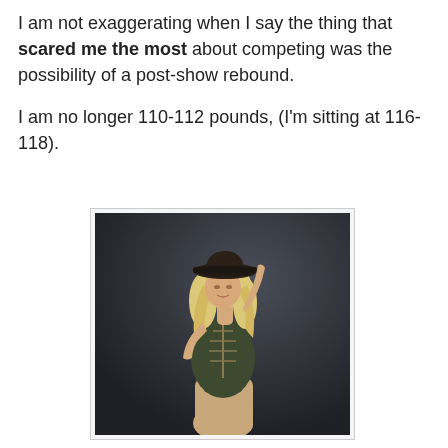I am not exaggerating when I say the thing that scared me the most about competing was the possibility of a post-show rebound.

I am no longer 110-112 pounds, (I'm sitting at 116-118).
[Figure (photo): A blonde woman wearing a dark wide-brim hat and an olive/dark green one-piece swimsuit, posing against a dark grey background with one arm raised behind her head.]